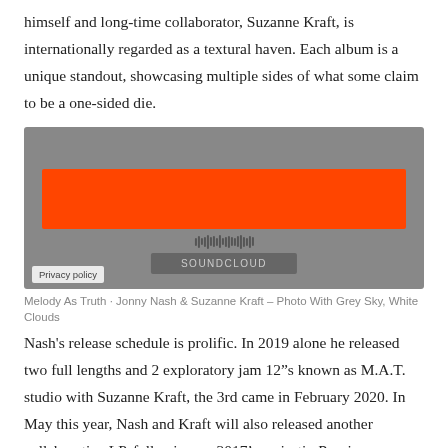himself and long-time collaborator, Suzanne Kraft, is internationally regarded as a textural haven. Each album is a unique standout, showcasing multiple sides of what some claim to be a one-sided die.
[Figure (screenshot): Embedded SoundCloud player widget with orange playback bar and SoundCloud branding button on grey background, with Privacy policy label at bottom left.]
Melody As Truth · Jonny Nash & Suzanne Kraft – Photo With Grey Sky, White Clouds
Nash's release schedule is prolific. In 2019 alone he released two full lengths and 2 exploratory jam 12″s known as M.A.T. studio with Suzanne Kraft, the 3rd came in February 2020. In May this year, Nash and Kraft will also released another collaborative LP, following up 2017's majestic Passive Aggressive. In 2017 for